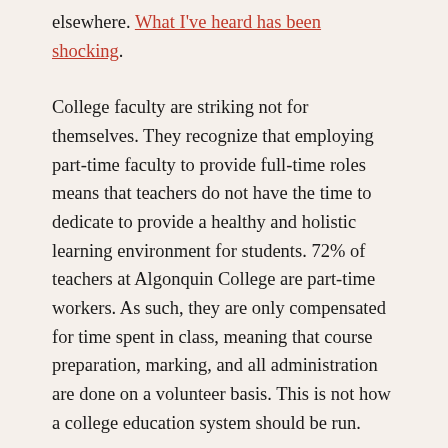elsewhere. What I've heard has been shocking.
College faculty are striking not for themselves. They recognize that employing part-time faculty to provide full-time roles means that teachers do not have the time to dedicate to provide a healthy and holistic learning environment for students. 72% of teachers at Algonquin College are part-time workers. As such, they are only compensated for time spent in class, meaning that course preparation, marking, and all administration are done on a volunteer basis. This is not how a college education system should be run.
College teachers, unlike university teachers, also have no academic freedom to decide the content of